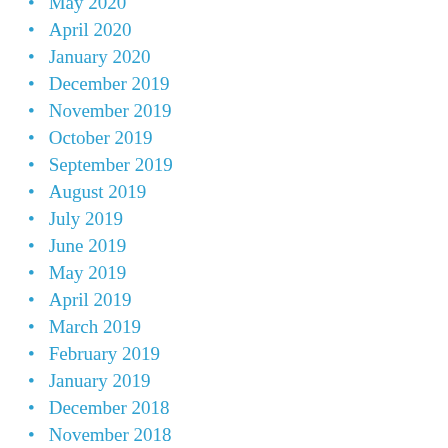May 2020
April 2020
January 2020
December 2019
November 2019
October 2019
September 2019
August 2019
July 2019
June 2019
May 2019
April 2019
March 2019
February 2019
January 2019
December 2018
November 2018